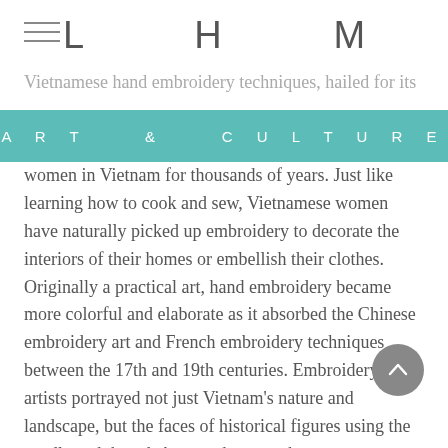LHM
ART & CULTURE
Vietnamese hand embroidery techniques, hailed for its women in Vietnam for thousands of years. Just like learning how to cook and sew, Vietnamese women have naturally picked up embroidery to decorate the interiors of their homes or embellish their clothes. Originally a practical art, hand embroidery became more colorful and elaborate as it absorbed the Chinese embroidery art and French embroidery techniques between the 17th and 19th centuries. Embroidery artists portrayed not just Vietnam's nature and landscape, but the faces of historical figures using the needle and thread. Among those works, some are masterpieces that applied over 500 colors and took years to complete. Embroidery details can be found on ao dai, Vietnam's traditional costume, or silk scarves. Even in wartime, Vietnamese women would sing peace as they sewed poetry and drawings that symbolize freedom on items such as handkerchiefs, fans, and